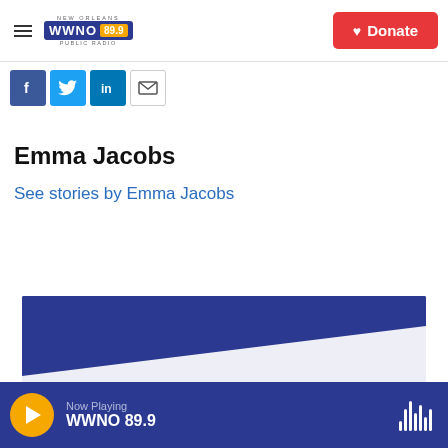NEW ORLEANS WWNO 89.9 PUBLIC RADIO — Donate
[Figure (screenshot): Social sharing icons: Facebook, Twitter, LinkedIn, Email]
Emma Jacobs
See stories by Emma Jacobs
[Figure (photo): Blue WWNO branded image with diagonal white stripe]
Now Playing WWNO 89.9